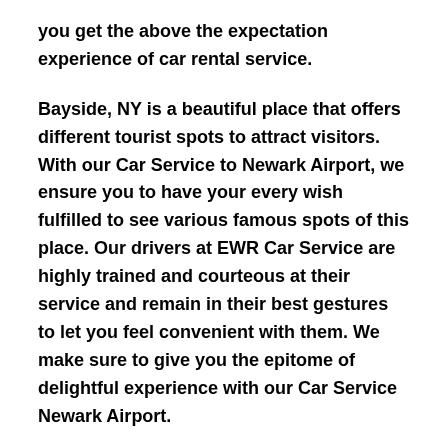you get the above the expectation experience of car rental service.
Bayside, NY is a beautiful place that offers different tourist spots to attract visitors. With our Car Service to Newark Airport, we ensure you to have your every wish fulfilled to see various famous spots of this place. Our drivers at EWR Car Service are highly trained and courteous at their service and remain in their best gestures to let you feel convenient with them. We make sure to give you the epitome of delightful experience with our Car Service Newark Airport.
Whether your arrival to Bayside, NY is due to some